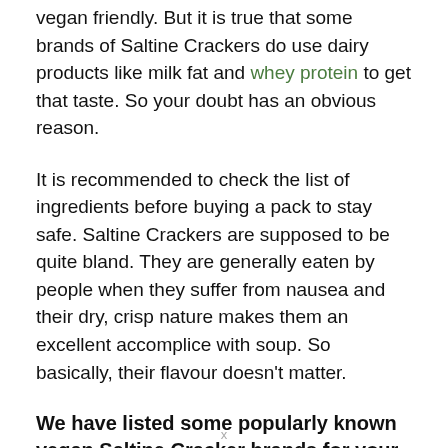vegan friendly. But it is true that some brands of Saltine Crackers do use dairy products like milk fat and whey protein to get that taste. So your doubt has an obvious reason.
It is recommended to check the list of ingredients before buying a pack to stay safe. Saltine Crackers are supposed to be quite bland. They are generally eaten by people when they suffer from nausea and their dry, crisp nature makes them an excellent accomplice with soup. So basically, their flavour doesn't matter.
We have listed some popularly known vegan Saltine Cracker brands for your convenience
x